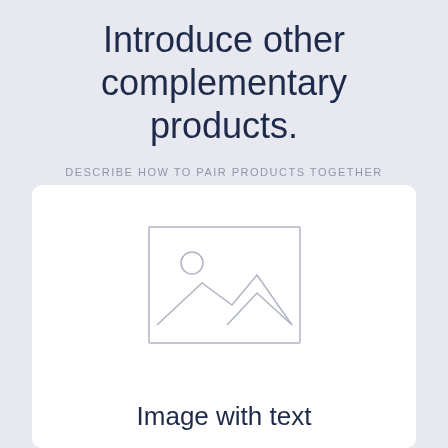Introduce other complementary products.
DESCRIBE HOW TO PAIR PRODUCTS TOGETHER
[Figure (illustration): A placeholder image icon showing mountains and a sun inside a rectangle, representing an image with text section.]
Image with text